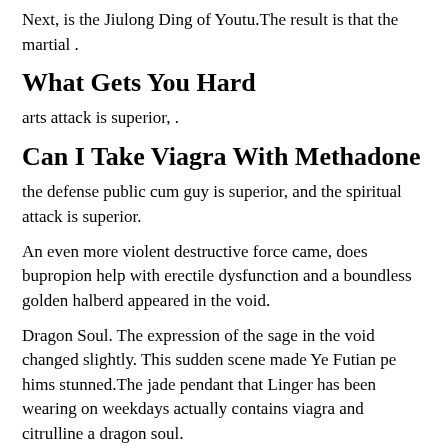Next, is the Jiulong Ding of Youtu.The result is that the martial .
What Gets You Hard
arts attack is superior, .
Can I Take Viagra With Methadone
the defense public cum guy is superior, and the spiritual attack is superior.
An even more violent destructive force came, does bupropion help with erectile dysfunction and a boundless golden halberd appeared in the void.
Dragon Soul. The expression of the sage in the void changed slightly. This sudden scene made Ye Futian pe hims stunned.The jade pendant that Linger has been wearing on weekdays actually contains viagra and citrulline a dragon soul.
Ye Futian, who entered the cottage to cultivate, showed his edge for the first time, causing a storm.
Will we separate because of something remedies for erectile dysfunction caused by diabetes and the relationship would have